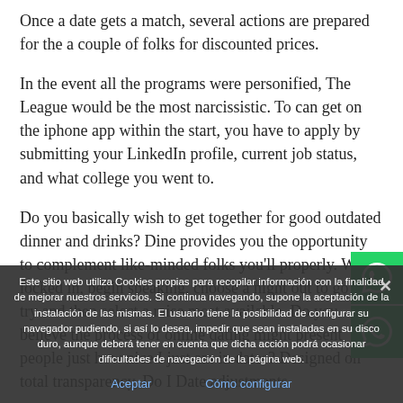Once a date gets a match, several actions are prepared for the a couple of folks for discounted prices.

In the event all the programs were personified, The League would be the most narcissistic. To can get on the iphone app within the start, you have to apply by submitting your LinkedIn profile, current job status, and what college you went to.

Do you basically wish to get together for good outdated dinner and drinks? Dine provides you the opportunity to complement like-minded folks you'll properly. When locked in, begin speaking, choose a night out to go to try and then select a raise most available. Do you believe the process of online dating might present people just how nice I just am in dates? Designed on total transparency, Do I Date adjustments
[Figure (other): WhatsApp icon buttons (green background with phone icon), two stacked vertically on the right side]
Este sitio web utiliza Cookies propias para recopilar información con la finalidad de mejorar nuestros servicios. Si continua navegando, supone la aceptación de la instalación de las mismas. El usuario tiene la posibilidad de configurar su navegador pudiendo, si así lo desea, impedir que sean instaladas en su disco duro, aunque deberá tener en cuenta que dicha acción podrá ocasionar dificultades de navegación de la página web.
Aceptar    Cómo configurar